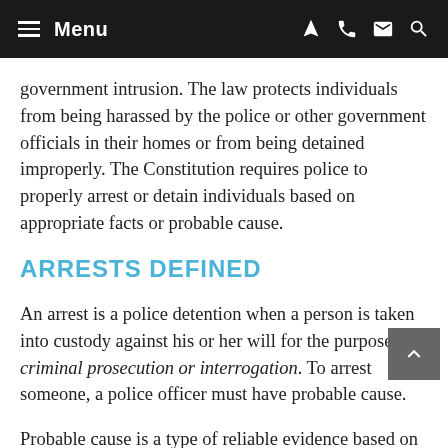Menu
government intrusion. The law protects individuals from being harassed by the police or other government officials in their homes or from being detained improperly. The Constitution requires police to properly arrest or detain individuals based on appropriate facts or probable cause.
ARRESTS DEFINED
An arrest is a police detention when a person is taken into custody against his or her will for the purpose of criminal prosecution or interrogation. To arrest someone, a police officer must have probable cause.
Probable cause is a type of reliable evidence based on facts or knowledge that would lead a reasonable person to believe that the individual under suspicion either committed or is committing a crime at the time of arrest.